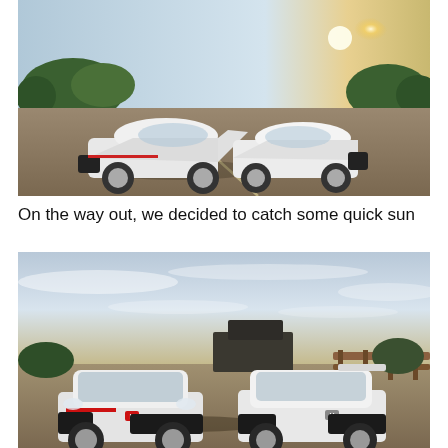[Figure (photo): Two white Honda Civic cars parked in a parking lot with trees and bright sun in the background. The left car is a Honda Civic Type R hatchback, the right is a Honda Civic sedan, both white. Sunny afternoon sky with trees behind.]
On the way out, we decided to catch some quick sun
[Figure (photo): Two white Honda Civic cars parked outdoors facing the camera in golden hour light. Left car is a Honda Civic Type R hatchback with red Honda badge, right is a Honda Civic sedan with spoiler. Cloudy sky, trees and a wooden fence in the background.]